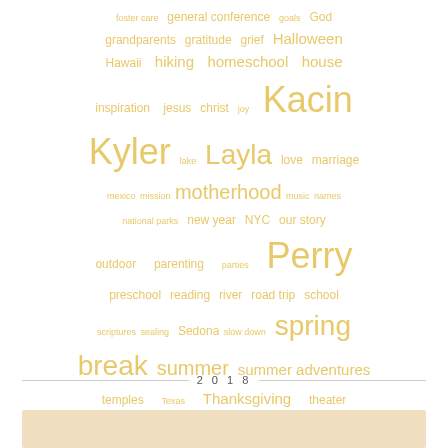[Figure (infographic): Tag cloud / word cloud with various topics in golden/yellow color at different font sizes, topics include: foster care, general conference, goals, God, grandparents, gratitude, grief, Halloween, Hawaii, hiking, homeschool, house, inspiration, jesus, christ, joy, Kacin, Kyler, lake, Layla, love, marriage, mexico, mission, motherhood, music, names, national parks, new year, NYC, our story, outdoor, parenting, parties, Perry, preschool, reading, river, road trip, school, scriptures, sealing, Sedona, slow down, spring break, summer, summer adventures, temples, Texas, Thanksgiving, theater, these days, thoughts, traditions, travel, vacations, valentine's, WA, wrestling, youth, YW camp]
2018
[Figure (photo): Partial photo visible at bottom of page with warm/sandy tones]